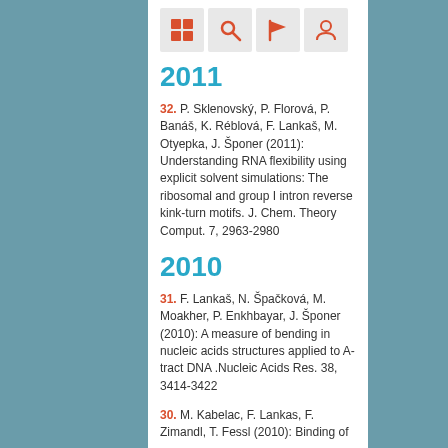[Figure (other): Navigation icon bar with four icons: grid/home, search, flag, and person/profile, each in an orange-red color on a light gray background square.]
2011
32. P. Sklenovský, P. Florová, P. Banáš, K. Réblová, F. Lankaš, M. Otyepka, J. Šponer (2011): Understanding RNA flexibility using explicit solvent simulations: The ribosomal and group I intron reverse kink-turn motifs. J. Chem. Theory Comput. 7, 2963-2980
2010
31. F. Lankaš, N. Špačková, M. Moakher, P. Enkhbayar, J. Šponer (2010): A measure of bending in nucleic acids structures applied to A-tract DNA .Nucleic Acids Res. 38, 3414-3422
30. M. Kabelac, F. Lankas, F. Zimandl, T. Fessl (2010): Binding of